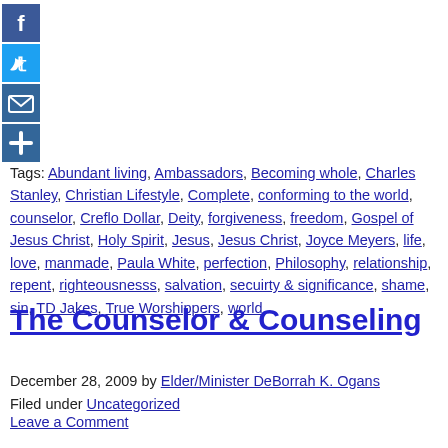[Figure (infographic): Social sharing buttons: Facebook (blue), Twitter (blue), Email (blue envelope), More/Plus (blue)]
Tags: Abundant living, Ambassadors, Becoming whole, Charles Stanley, Christian Lifestyle, Complete, conforming to the world, counselor, Creflo Dollar, Deity, forgiveness, freedom, Gospel of Jesus Christ, Holy Spirit, Jesus, Jesus Christ, Joyce Meyers, life, love, manmade, Paula White, perfection, Philosophy, relationship, repent, righteousnesss, salvation, secuirty & significance, shame, sin, TD Jakes, True Worshippers, world
The Counselor & Counseling
December 28, 2009 by Elder/Minister DeBorrah K. Ogans
Filed under Uncategorized
Leave a Comment